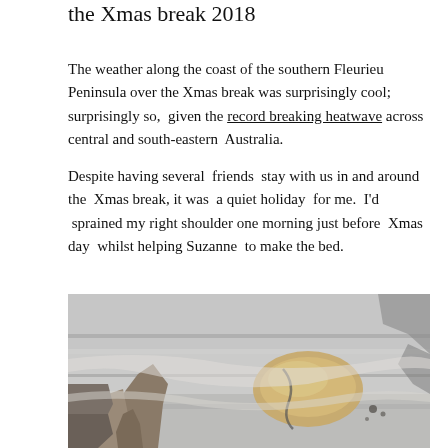the Xmas break 2018
The weather along the coast of the southern Fleurieu Peninsula over the Xmas break was surprisingly cool; surprisingly so,  given the record breaking heatwave across central and south-eastern  Australia.
Despite having several  friends  stay with us in and around the  Xmas break, it was  a quiet holiday  for me.  I'd  sprained my right shoulder one morning just before  Xmas day  whilst helping Suzanne  to make the bed.
[Figure (photo): Close-up photograph of weathered limestone or sandstone rock formations showing layered, eroded surfaces in shades of grey, white, and tan/ochre.]